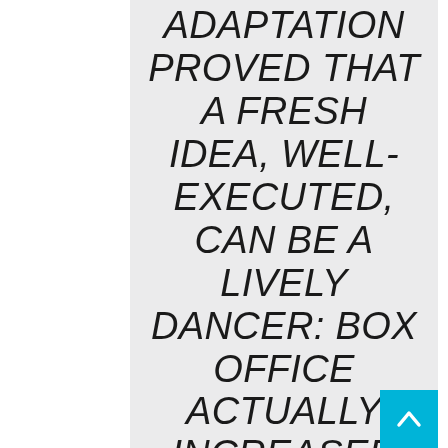ADAPTATION PROVED THAT A FRESH IDEA, WELL-EXECUTED, CAN BE A LIVELY DANCER: BOX OFFICE ACTUALLY INCREASED MARKEDLY FROM FRIDAY NIGHT ($7.3 MIL) TO SATURDAY ($9.2 MIL), A SIGN THAT EVEN IF IT WON'T PLAY AS LONG AS ITS RELATIVELY HOARY STARS — MEDIAN AGE: 50